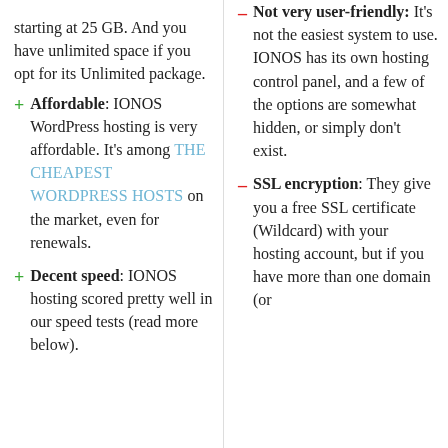starting at 25 GB. And you have unlimited space if you opt for its Unlimited package.
+ Affordable: IONOS WordPress hosting is very affordable. It's among THE CHEAPEST WORDPRESS HOSTS on the market, even for renewals.
+ Decent speed: IONOS hosting scored pretty well in our speed tests (read more below).
– Not very user-friendly: It's not the easiest system to use. IONOS has its own hosting control panel, and a few of the options are somewhat hidden, or simply don't exist.
– SSL encryption: They give you a free SSL certificate (Wildcard) with your hosting account, but if you have more than one domain (or